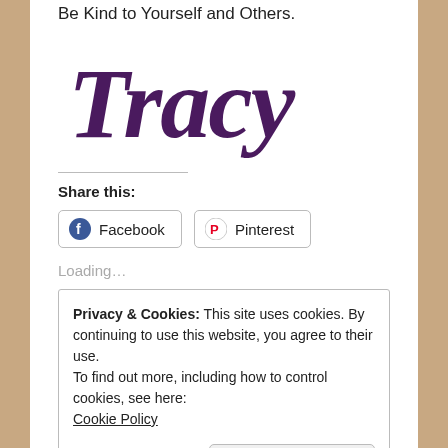Be Kind to Yourself and Others.
[Figure (illustration): Cursive signature reading 'Tracy' in dark purple script font]
Share this:
Facebook
Pinterest
Loading...
Privacy & Cookies: This site uses cookies. By continuing to use this website, you agree to their use.
To find out more, including how to control cookies, see here:
Cookie Policy
Close and accept